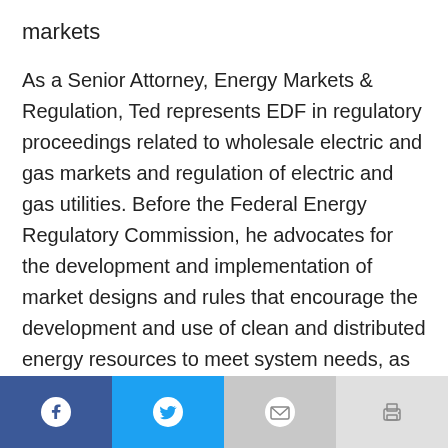markets
As a Senior Attorney, Energy Markets & Regulation, Ted represents EDF in regulatory proceedings related to wholesale electric and gas markets and regulation of electric and gas utilities. Before the Federal Energy Regulatory Commission, he advocates for the development and implementation of market designs and rules that encourage the development and use of clean and distributed energy resources to meet system needs, as well as natural gas policies that appropriately account for